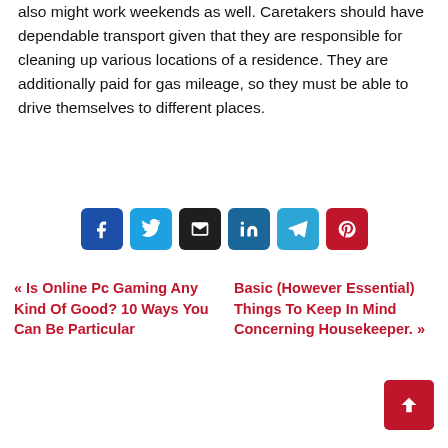also might work weekends as well. Caretakers should have dependable transport given that they are responsible for cleaning up various locations of a residence. They are additionally paid for gas mileage, so they must be able to drive themselves to different places.
[Figure (infographic): Row of six social share buttons: Facebook (dark blue), Twitter (light blue), Email (dark/black), LinkedIn (blue), Telegram (cyan-blue), Pinterest (red)]
« Is Online Pc Gaming Any Kind Of Good? 10 Ways You Can Be Particular
Basic (However Essential) Things To Keep In Mind Concerning Housekeeper. »